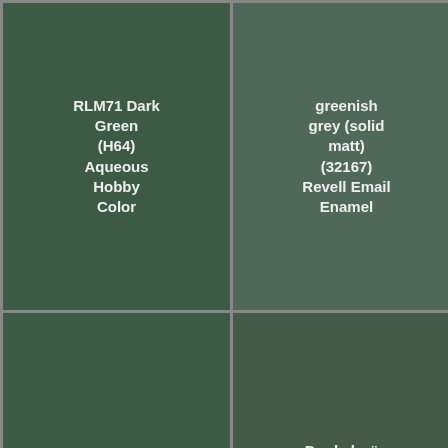| RLM71 Dark Green (H64) Aqueous Hobby Color | greenish grey (solid matt) (32167) Revell Email Enamel | RLM 71 (4781) Testors Model Master Acrylic | RLM71 (SG) (2081) Testors Model Master Enamel |
| [continued] | Dunkelgrün RLM 71 (4781AP) Italeri | Dark Green RLM71 (71.015) Vallejo Model Air | RLM 71 Dunkelgrun (242) Humbrol Enamel |
| [dark] | RLM70 Black Green (C18) Mr. Color | Black Green (XF27) Tamiya Color Acrylic Paints (Flat) | Bronce Green (70.897) Vallejo Model Color |